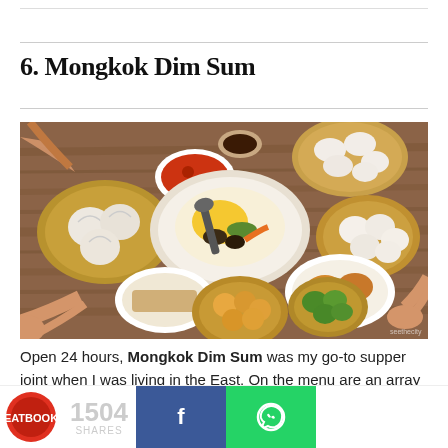6. Mongkok Dim Sum
[Figure (photo): Overhead view of a table with multiple dim sum dishes including dumplings in bamboo steamers, a hotpot, siu mai, and other dishes, with hands reaching for food]
Open 24 hours, Mongkok Dim Sum was my go-to supper joint when I was living in the East. On the menu are an array of dishes, priced at an
1504 SHARES  [Facebook share button]  [WhatsApp share button]